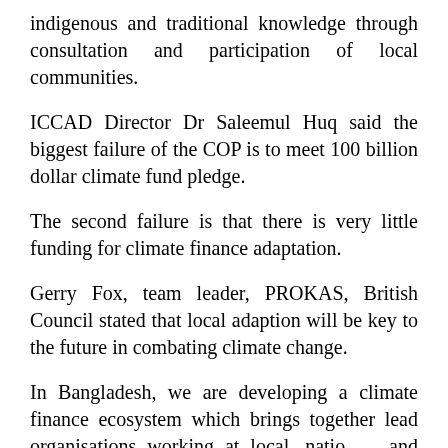indigenous and traditional knowledge through consultation and participation of local communities.
ICCAD Director Dr Saleemul Huq said the biggest failure of the COP is to meet 100 billion dollar climate fund pledge.
The second failure is that there is very little funding for climate finance adaptation.
Gerry Fox, team leader, PROKAS, British Council stated that local adaption will be key to the future in combating climate change.
In Bangladesh, we are developing a climate finance ecosystem which brings together lead organisations working at local, natio and global, creating a